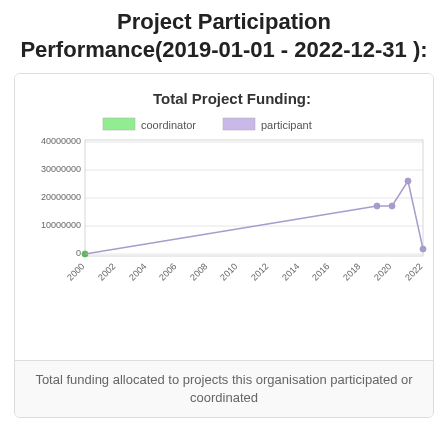Project Participation Performance(2019-01-01 - 2022-12-31 ):
[Figure (line-chart): Total Project Funding:]
Total funding allocated to projects this organisation participated or coordinated